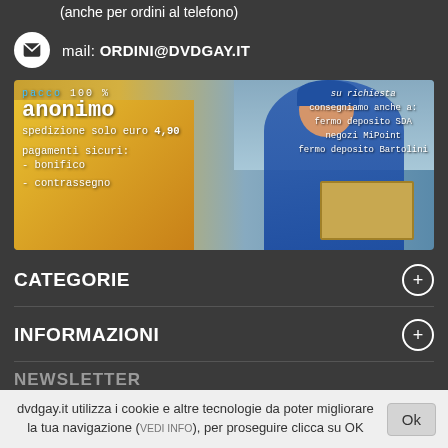(anche per ordini al telefono)
mail: ORDINI@DVDGAY.IT
[Figure (infographic): Delivery banner showing a courier in blue uniform holding a box in front of a yellow van. Text overlay in Italian: 'pacco 100% anonimo, spedizione solo euro 4,90, pagamenti sicuri: bonifico, contrassegno'. Right side: 'su richiesta consegniamo anche a: fermo deposito SDA, negozi MiPoint, fermo deposito Bartolini']
CATEGORIE
INFORMAZIONI
NEWSLETTER
dvdgay.it utilizza i cookie e altre tecnologie da poter migliorare la tua navigazione (VEDI INFO), per proseguire clicca su OK